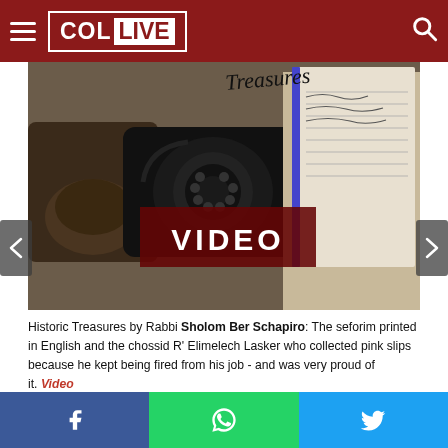COL LIVE
[Figure (photo): Website screenshot showing a photo of vintage items including a rotary telephone, leather case, and open notebooks with handwriting. A dark red 'VIDEO' badge overlay is shown on the image. The image is from the 'Historic Treasures' series on COL Live.]
Historic Treasures by Rabbi Sholom Ber Schapiro: The seforim printed in English and the chossid R' Elimelech Lasker who collected pink slips because he kept being fired from his job - and was very proud of it. Video
2 Comments
[Figure (screenshot): Partial advertisement banner showing CHOCOLATTE brand in grey background]
Facebook share | WhatsApp share | Twitter share